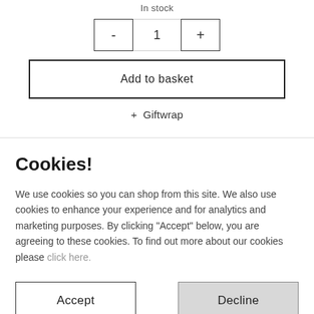In stock
- 1 +
Add to basket
+ Giftwrap
Cookies!
We use cookies so you can shop from this site. We also use cookies to enhance your experience and for analytics and marketing purposes. By clicking "Accept" below, you are agreeing to these cookies. To find out more about our cookies please click here.
Accept
Decline